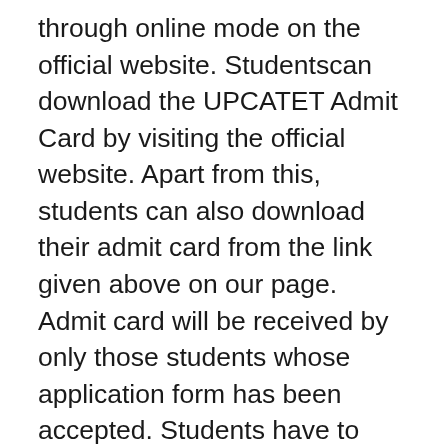through online mode on the official website. Studentscan download the UPCATET Admit Card by visiting the official website. Apart from this, students can also download their admit card from the link given above on our page. Admit card will be received by only those students whose application form has been accepted. Students have to download the UPCATET Admit Card themselves , no hard copy will be sent by the university. UPCATET Admit Card It is necessary for all the students to appear in the written exam. Students who do not have the admit card will not be eligible to appear in the written examination. To download the admit card, details like registration number, DOB, course name have to be entered. The written exam for UPCATET 2021 will be hold on 12th, 13th